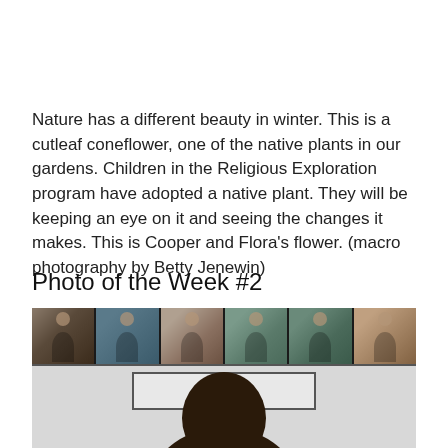Nature has a different beauty in winter. This is a cutleaf coneflower, one of the native plants in our gardens. Children in the Religious Exploration program have adopted a native plant. They will be keeping an eye on it and seeing the changes it makes. This is Cooper and Flora's flower. (macro photography by Betty Jenewin)
Photo of the Week #2
[Figure (photo): Screenshot of a video call (Zoom or similar) showing a strip of six participant thumbnails at the top, with a document or whiteboard visible below reading 'LIMITS', and a person's head (from above) visible at the bottom of the frame.]